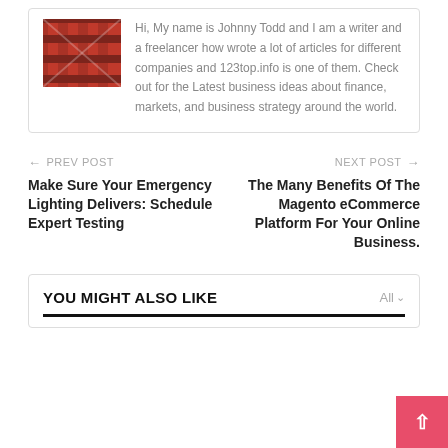[Figure (photo): Author photo — red/black plaid pattern thumbnail]
Hi, My name is Johnny Todd and I am a writer and a freelancer how wrote a lot of articles for different companies and 123top.info is one of them. Check out for the Latest business ideas about finance, markets, and business strategy around the world.
← PREV POST
Make Sure Your Emergency Lighting Delivers: Schedule Expert Testing
NEXT POST →
The Many Benefits Of The Magento eCommerce Platform For Your Online Business.
YOU MIGHT ALSO LIKE
All